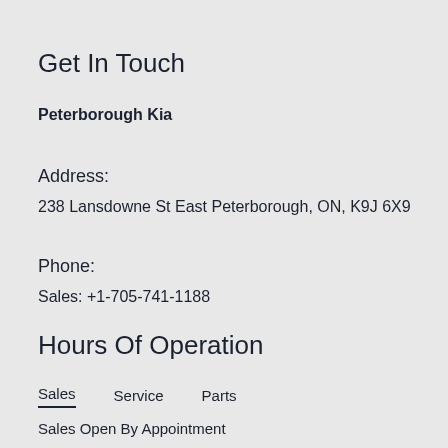Get In Touch
Peterborough Kia
Address:
238 Lansdowne St East Peterborough, ON, K9J 6X9
Phone:
Sales: +1-705-741-1188
Hours Of Operation
Sales   Service   Parts
Sales Open By Appointment